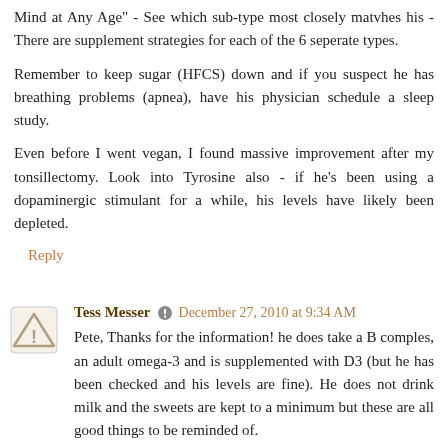Mind at Any Age" - See which sub-type most closely matvhes his - There are supplement strategies for each of the 6 seperate types.
Remember to keep sugar (HFCS) down and if you suspect he has breathing problems (apnea), have his physician schedule a sleep study.
Even before I went vegan, I found massive improvement after my tonsillectomy. Look into Tyrosine also - if he's been using a dopaminergic stimulant for a while, his levels have likely been depleted.
Reply
Tess Messer   December 27, 2010 at 9:34 AM
Pete, Thanks for the information! he does take a B comples, an adult omega-3 and is supplemented with D3 (but he has been checked and his levels are fine). He does not drink milk and the sweets are kept to a minimum but these are all good things to be reminded of.